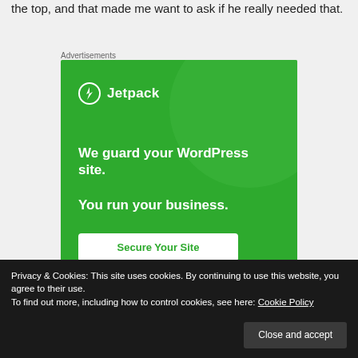the top, and that made me want to ask if he really needed that.
Advertisements
[Figure (advertisement): Jetpack advertisement: green background with large circle graphic, Jetpack logo and name, text 'We guard your WordPress site. You run your business.' and a 'Secure Your Site' button.]
Privacy & Cookies: This site uses cookies. By continuing to use this website, you agree to their use.
To find out more, including how to control cookies, see here: Cookie Policy
Close and accept